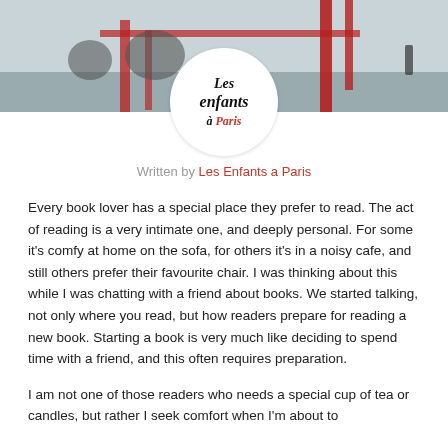[Figure (photo): A photo of children playing on a climbing frame or playground equipment, with red metal bars visible. The image is cropped and partially obscured by a circular logo overlay.]
[Figure (logo): Circular white logo with cursive black text reading 'Les enfants à Paris' with 'Paris' in red.]
Written by Les Enfants a Paris
Every book lover has a special place they prefer to read. The act of reading is a very intimate one, and deeply personal. For some it's comfy at home on the sofa, for others it's in a noisy cafe, and still others prefer their favourite chair. I was thinking about this while I was chatting with a friend about books. We started talking, not only where you read, but how readers prepare for reading a new book. Starting a book is very much like deciding to spend time with a friend, and this often requires preparation.
I am not one of those readers who needs a special cup of tea or candles, but rather I seek comfort when I'm about to